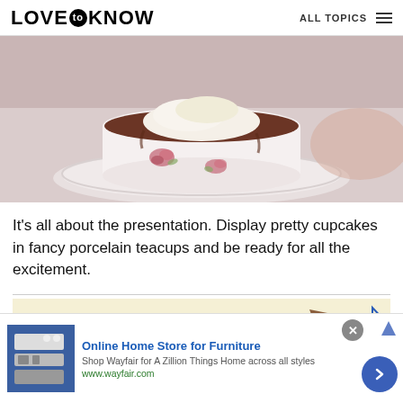LOVE to KNOW   ALL TOPICS
[Figure (photo): Top-down view of a cupcake in a white porcelain teacup with pink rose pattern on a matching saucer]
It's all about the presentation. Display pretty cupcakes in fancy porcelain teacups and be ready for all the excitement.
[Figure (infographic): Advertisement banner with beige/tan background and arrow graphic]
[Figure (infographic): Wayfair advertisement: Online Home Store for Furniture. Shop Wayfair for A Zillion Things Home across all styles. www.wayfair.com]